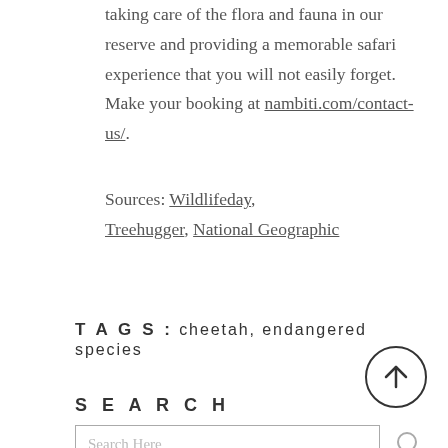taking care of the flora and fauna in our reserve and providing a memorable safari experience that you will not easily forget. Make your booking at nambiti.com/contact-us/.
Sources: Wildlifeday, Treehugger, National Geographic
TAGS: cheetah, endangered species
SEARCH
Search Here